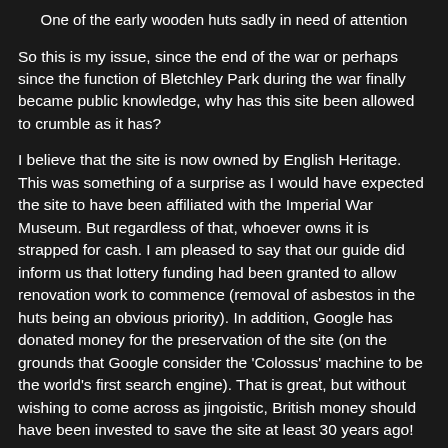One of the early wooden huts sadly in need of attention
So this is my issue, since the end of the war or perhaps since the function of Bletchley Park during the war finally became public knowledge, why has this site been allowed to crumble as it has?
I believe that the site is now owned by English Heritage. This was something of a surprise as I would have expected the site to have been affiliated with the Imperial War Museum. But regardless of that, whoever owns it is strapped for cash. I am pleased to say that our guide did inform us that lottery funding had been granted to allow renovation work to commence (removal of asbestos in the huts being an obvious priority). In addition, Google has donated money for the preservation of the site (on the grounds that Google consider the 'Colossus' machine to be the world's first search engine). That is great, but without wishing to come across as jingoistic, British money should have been invested to save the site at least 30 years ago!
The Treatment of Alan Turing